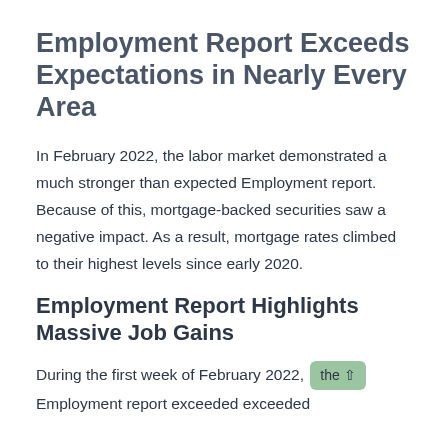Employment Report Exceeds Expectations in Nearly Every Area
In February 2022, the labor market demonstrated a much stronger than expected Employment report. Because of this, mortgage-backed securities saw a negative impact. As a result, mortgage rates climbed to their highest levels since early 2020.
Employment Report Highlights Massive Job Gains
During the first week of February 2022, the Employment report exceeded exceeded